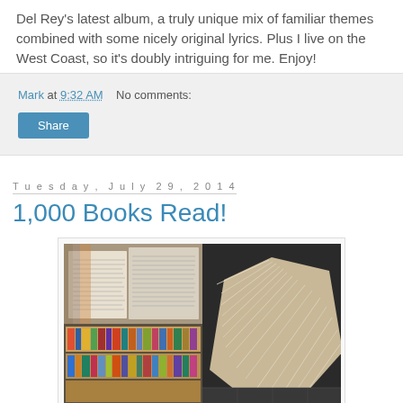Del Rey's latest album, a truly unique mix of familiar themes combined with some nicely original lyrics. Plus I live on the West Coast, so it's doubly intriguing for me. Enjoy!
Mark at 9:32 AM   No comments:
Share
Tuesday, July 29, 2014
1,000 Books Read!
[Figure (photo): Two-photo collage: top-left shows an open book lying flat with text pages visible and books in background; bottom-left shows shelves densely packed with colorful books; right side shows a fanned-out book standing upright showing page edges.]